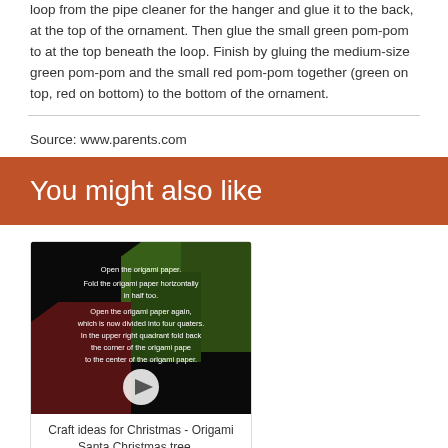loop from the pipe cleaner for the hanger and glue it to the back, at the top of the ornament. Then glue the small green pom-pom to at the top beneath the loop. Finish by gluing the medium-size green pom-pom and the small red pom-pom together (green on top, red on bottom) to the bottom of the ornament.
Source: www.parents.com
You might also like
[Figure (screenshot): Video thumbnail showing origami folding instructions on a green and red background with a play button overlay. Text reads: Open the origami paper. Fold the origami paper horizontally in half too. Open the origami paper again, which is now divided into four quaters. In the upper right quadrant fold back the corner of the origami pape to the center of the origami paper.]
Craft ideas for Christmas - Origami Santa Christmas tree ...